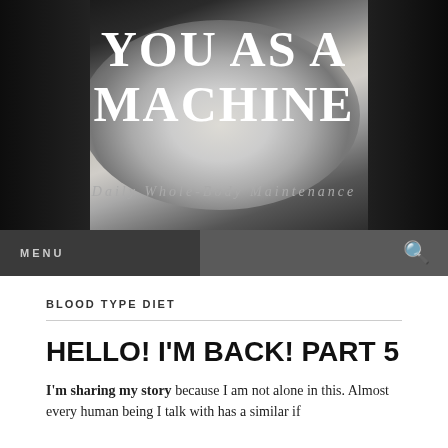[Figure (photo): Black and white photo showing a person's torso and hands, used as blog header background]
YOU AS A MACHINE
Daily Whole-Body Maintenance
MENU
BLOOD TYPE DIET
HELLO! I'M BACK! PART 5
I'm sharing my story because I am not alone in this. Almost every human being I talk with has a similar if